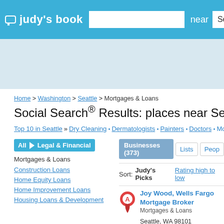judy's book | near Seattle
[Figure (screenshot): Ad banner area with light blue background]
Home > Washington > Seattle > Mortgages & Loans
Social Search® Results: places near Seattle, WA (0.01...)
Top 10 in Seattle » Dry Cleaning · Dermatologists · Painters · Doctors · More Topics
All | Legal & Financial
Mortgages & Loans
Construction Loans
Home Equity Loans
Home Improvement Loans
Housing Loans & Development
Businesses (373) | Lists | People
Sort: Judy's Picks | Rating high to low
Joy Wood, Wells Fargo Mortgage Broker
Mortgages & Loans
Seattle, WA 98101
Contact info